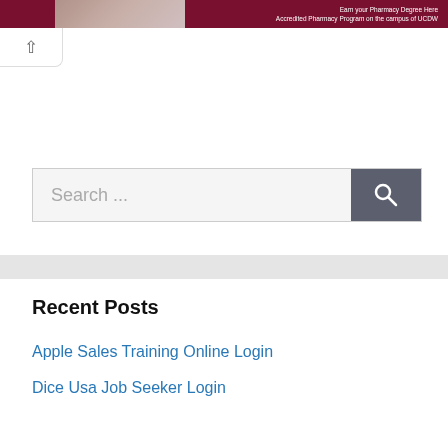[Figure (photo): Banner advertisement for pharmacy degree program at UCDW with dark red/maroon background and photo of person]
[Figure (screenshot): Collapse/chevron up button element]
Search ...
Recent Posts
Apple Sales Training Online Login
Dice Usa Job Seeker Login